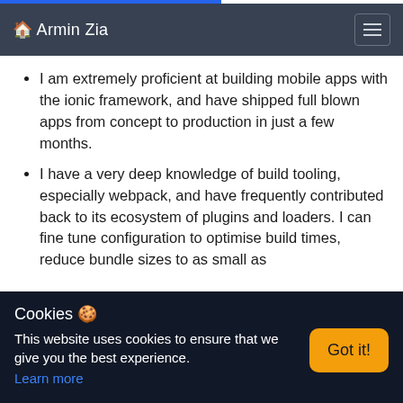🏠 Armin Zia
I am extremely proficient at building mobile apps with the ionic framework, and have shipped full blown apps from concept to production in just a few months.
I have a very deep knowledge of build tooling, especially webpack, and have frequently contributed back to its ecosystem of plugins and loaders. I can fine tune configuration to optimise build times, reduce bundle sizes to as small as
Cookies 🍪
This website uses cookies to ensure that we give you the best experience.
Learn more